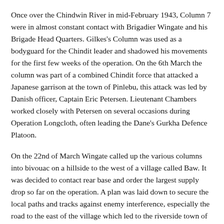Once over the Chindwin River in mid-February 1943, Column 7 were in almost constant contact with Brigadier Wingate and his Brigade Head Quarters. Gilkes's Column was used as a bodyguard for the Chindit leader and shadowed his movements for the first few weeks of the operation. On the 6th March the column was part of a combined Chindit force that attacked a Japanese garrison at the town of Pinlebu, this attack was led by Danish officer, Captain Eric Petersen. Lieutenant Chambers worked closely with Petersen on several occasions during Operation Longcloth, often leading the Dane's Gurkha Defence Platoon.
On the 22nd of March Wingate called up the various columns into bivouac on a hillside to the west of a village called Baw. It was decided to contact rear base and order the largest supply drop so far on the operation. A plan was laid down to secure the local paths and tracks against enemy interference, especially the road to the east of the village which led to the riverside town of Mabein, where the Japanese had a large garrison.